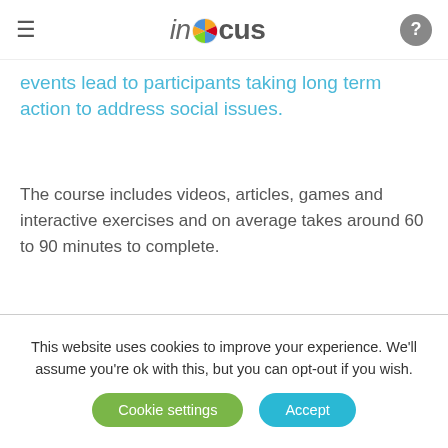inFocus
events lead to participants taking long term action to address social issues.
The course includes videos, articles, games and interactive exercises and on average takes around 60 to 90 minutes to complete.
Access Spirit 2012 e-Learning Course
This website uses cookies to improve your experience. We'll assume you're ok with this, but you can opt-out if you wish.
Cookie settings
Accept